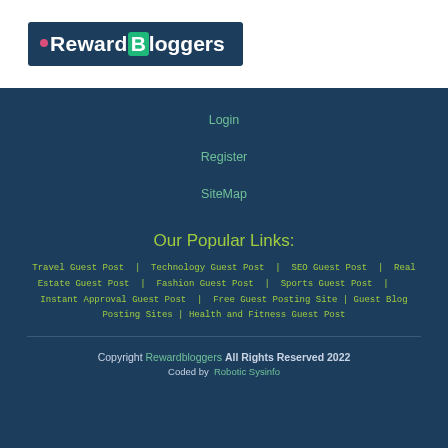[Figure (logo): Reward Bloggers logo on dark blue background with pink dot, B in teal box]
Login
Register
SiteMap
Our Popular Links:
Travel Guest Post | Technology Guest Post | SEO Guest Post | Real Estate Guest Post | Fashion Guest Post | Sports Guest Post | Instant Approval Guest Post | Free Guest Posting Site | Guest Blog Posting Sites | Health and Fitness Guest Post
Copyright Rewardbloggers All Rights Reserved 2022 Coded by Robotic Sysinfo